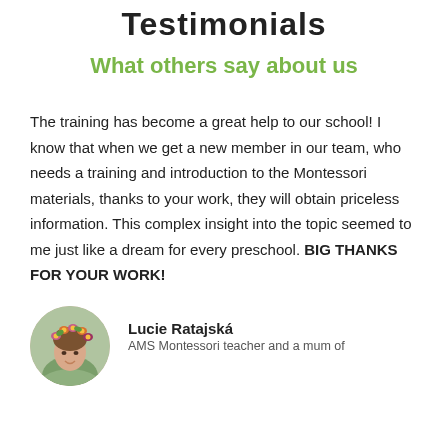Testimonials
What others say about us
The training has become a great help to our school! I know that when we get a new member in our team, who needs a training and introduction to the Montessori materials, thanks to your work, they will obtain priceless information. This complex insight into the topic seemed to me just like a dream for every preschool. BIG THANKS FOR YOUR WORK!
[Figure (photo): Circular portrait photo of Lucie Ratajská wearing a flower crown]
Lucie Ratajská
AMS Montessori teacher and a mum of